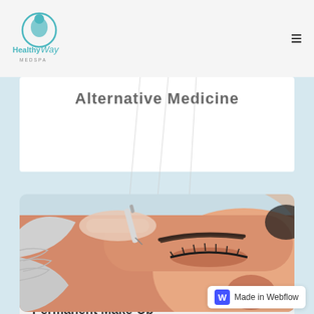Healthy Way Med Spa
Alternative Medicine
[Figure (photo): Close-up of a woman lying with eyes closed receiving a cosmetic tattoo / microblading eyebrow treatment. A gloved hand holds a tattooing pen against her brow area.]
Permanent Make-Up